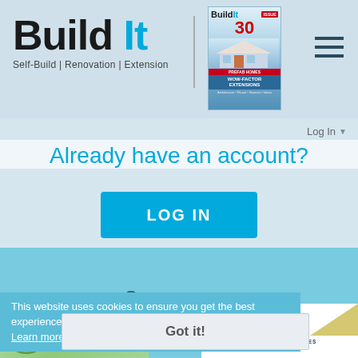[Figure (logo): Build It magazine logo with tagline Self-Build | Renovation | Extension and magazine cover image]
Log In
Already have an account?
LOG IN
Our sponsors
This website uses cookies to ensure you get the best experience on our website. Learn more
Got it!
[Figure (logo): LOMAX logo - Made-to-order timber windows and doors]
[Figure (logo): Scandiahus - Swedish Energy Saving Homes logo]